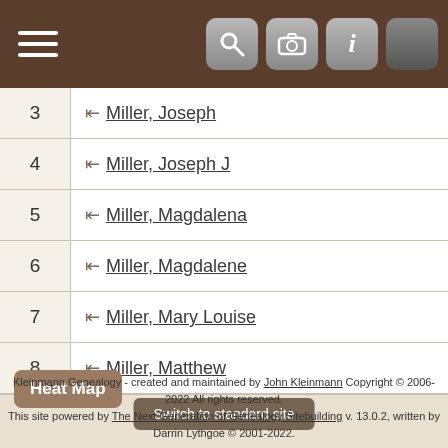Navigation bar with menu, search, camera, info, and settings icons
3  Miller, Joseph
4  Miller, Joseph J
5  Miller, Magdalena
6  Miller, Magdalene
7  Miller, Mary Louise
8  Miller, Matthew
Heat Map
Switch to standard site
Kleinmann Genealogy - created and maintained by John Kleinmann Copyright © 2006-2022 All rights reserved. This site powered by The Next Generation of Genealogy Sitebuilding v. 13.0.2, written by Darrin Lythgoe © 2001-2022.